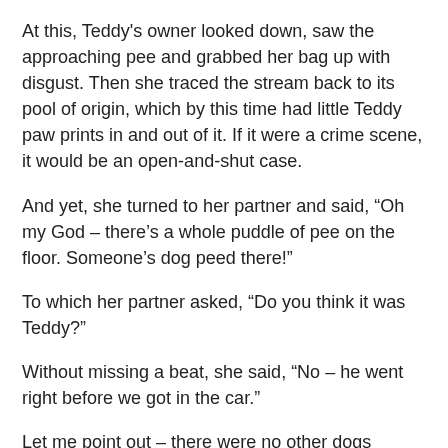At this, Teddy's owner looked down, saw the approaching pee and grabbed her bag up with disgust. Then she traced the stream back to its pool of origin, which by this time had little Teddy paw prints in and out of it. If it were a crime scene, it would be an open-and-shut case.
And yet, she turned to her partner and said, “Oh my God – there’s a whole puddle of pee on the floor. Someone’s dog peed there!”
To which her partner asked, “Do you think it was Teddy?”
Without missing a beat, she said, “No – he went right before we got in the car.”
Let me point out – there were no other dogs remotely near the puddle and the only wet foot prints tracked directly to